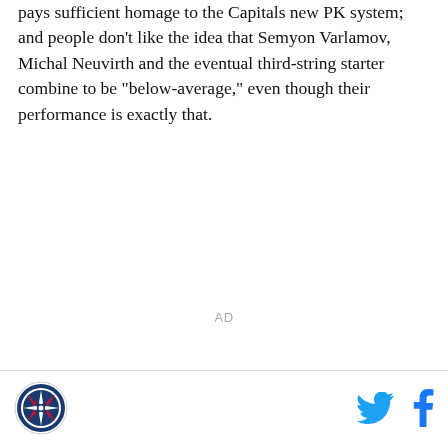Washington reduced its PK shots against this season pays sufficient homage to the Capitals new PK system; and people don't like the idea that Semyon Varlamov, Michal Neuvirth and the eventual third-string starter combine to be "below-average," even though their performance is exactly that.
AD
[Figure (logo): Circular sports team or publication logo with compass/star design in blue and red]
[Figure (infographic): Twitter bird icon in cyan blue]
[Figure (infographic): Facebook 'f' icon in blue]